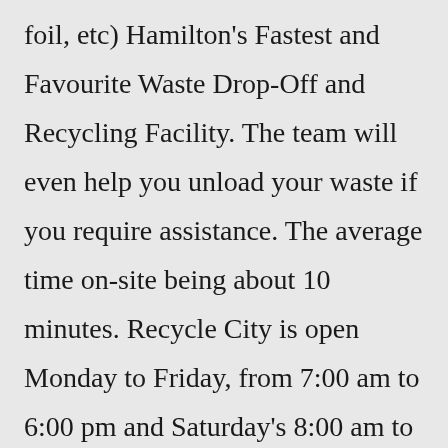foil, etc) Hamilton's Fastest and Favourite Waste Drop-Off and Recycling Facility. The team will even help you unload your waste if you require assistance. The average time on-site being about 10 minutes. Recycle City is open Monday to Friday, from 7:00 am to 6:00 pm and Saturday's 8:00 am to 5:00 pm. Jun 27, 2022 · Recycle City Grades: 2-6 Explore Recycle City to see how the people of the town reduce waste,